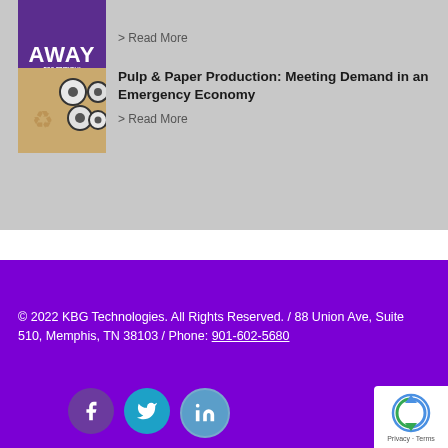[Figure (photo): Purple product label showing 'AWAY ECO-FRIENDLY CLEANER FOR TOUGH JOBS']
> Read More
[Figure (photo): Paper/tissue rolls on a brown cardboard background]
Pulp & Paper Production: Meeting Demand in an Emergency Economy
> Read More
© 2022 KBG Technologies. All Rights Reserved. / 88 Union Ave, Suite 510, Memphis, TN 38103 / Phone: 901-602-5680